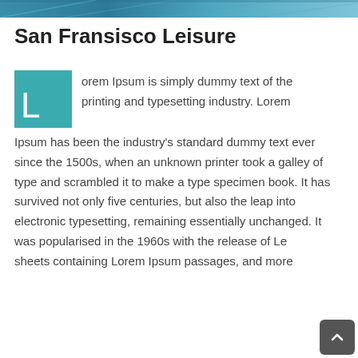[Figure (photo): Top portion of a photo showing a blue sky and structural elements, cropped at the top of the page]
San Fransisco Leisure
Lorem Ipsum is simply dummy text of the printing and typesetting industry. Lorem Ipsum has been the industry's standard dummy text ever since the 1500s, when an unknown printer took a galley of type and scrambled it to make a type specimen book. It has survived not only five centuries, but also the leap into electronic typesetting, remaining essentially unchanged. It was popularised in the 1960s with the release of Le[traset] sheets containing Lorem Ipsum passages, and more